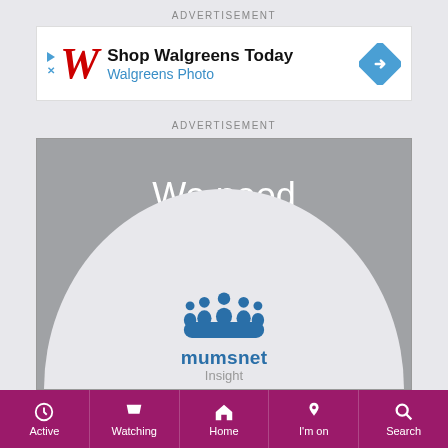ADVERTISEMENT
[Figure (screenshot): Walgreens ad: Shop Walgreens Today - Walgreens Photo with W logo and navigation arrow diamond icon]
ADVERTISEMENT
[Figure (screenshot): Mumsnet Insight ad with 'We need you!' text and mumsnet logo on white ellipse background]
[Figure (screenshot): Bottom navigation bar with Active, Watching, Home, I'm on, Search tabs on purple background]